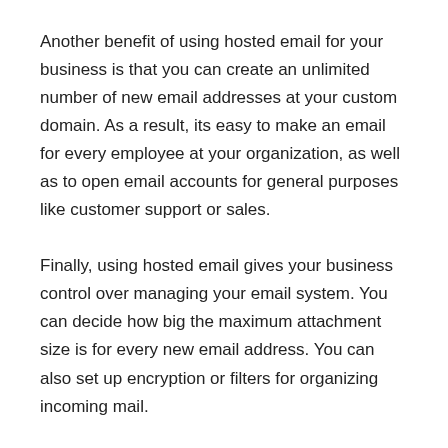Another benefit of using hosted email for your business is that you can create an unlimited number of new email addresses at your custom domain. As a result, its easy to make an email for every employee at your organization, as well as to open email accounts for general purposes like customer support or sales.
Finally, using hosted email gives your business control over managing your email system. You can decide how big the maximum attachment size is for every new email address. You can also set up encryption or filters for organizing incoming mail.
Get Down To Business With Free Professional Email From